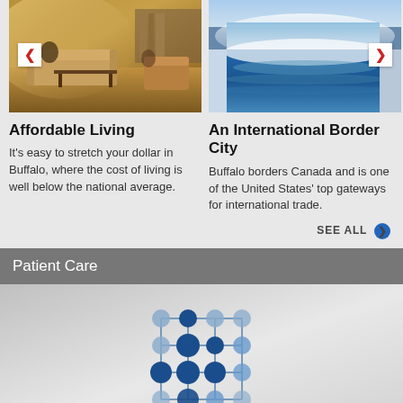[Figure (photo): Interior photo of a living room with couches and furniture, warm lighting]
Affordable Living
It's easy to stretch your dollar in Buffalo, where the cost of living is well below the national average.
[Figure (photo): Aerial photo of Niagara Falls with blue water and mist]
An International Border City
Buffalo borders Canada and is one of the United States' top gateways for international trade.
SEE ALL
Patient Care
[Figure (illustration): Network diagram with blue circles connected by lines in a grid pattern, representing patient care network]